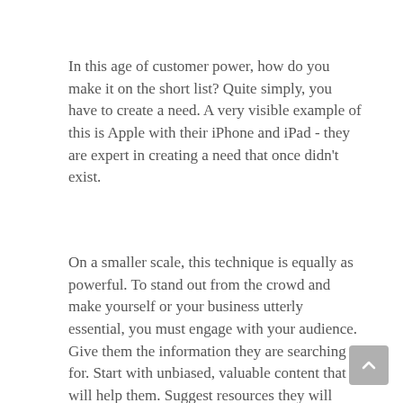In this age of customer power, how do you make it on the short list? Quite simply, you have to create a need. A very visible example of this is Apple with their iPhone and iPad - they are expert in creating a need that once didn't exist.
On a smaller scale, this technique is equally as powerful. To stand out from the crowd and make yourself or your business utterly essential, you must engage with your audience. Give them the information they are searching for. Start with unbiased, valuable content that will help them. Suggest resources they will value. Update them on features and services they'll appreciate.  Open their world to new ideas. Make the unknown, known.